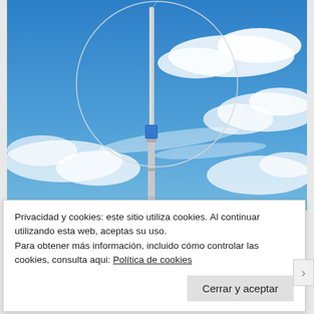[Figure (photo): A radio antenna or magnetic loop antenna mounted on a tall metal pole against a blue sky with white clouds. The antenna forms a large circular loop at the top of the pole with a small blue electronic box mounted partway up.]
Privacidad y cookies: este sitio utiliza cookies. Al continuar utilizando esta web, aceptas su uso.
Para obtener más información, incluido cómo controlar las cookies, consulta aqui: Política de cookies
Cerrar y aceptar